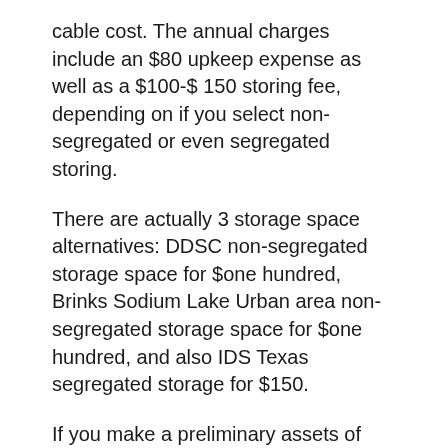cable cost. The annual charges include an $80 upkeep expense as well as a $100-$ 150 storing fee, depending on if you select non-segregated or even segregated storing.
There are actually 3 storage space alternatives: DDSC non-segregated storage space for $one hundred, Brinks Sodium Lake Urban area non-segregated storage space for $one hundred, and also IDS Texas segregated storage for $150.
If you make a preliminary assets of $50,000 or more, the fees will be actually waived for the initial year. There is additionally a 5% back in free of cost metallics.
Goldco Minimum Required